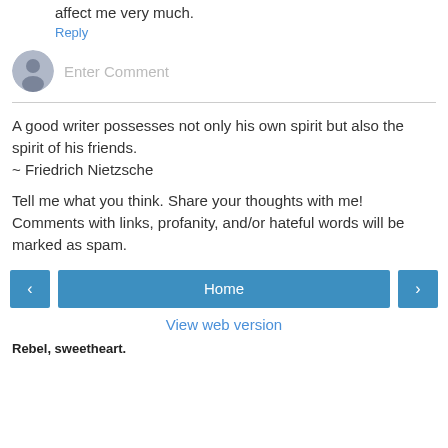affect me very much.
Reply
[Figure (other): User avatar placeholder icon (grey circle with person silhouette) next to an 'Enter Comment' input field placeholder text]
A good writer possesses not only his own spirit but also the spirit of his friends.
~ Friedrich Nietzsche
Tell me what you think. Share your thoughts with me!
Comments with links, profanity, and/or hateful words will be marked as spam.
[Figure (other): Navigation bar with three buttons: left arrow button, Home button, right arrow button]
View web version
Rebel, sweetheart.